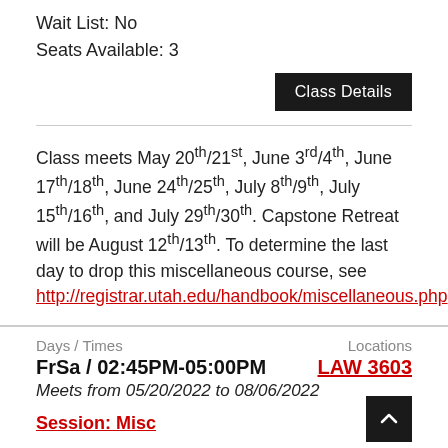Wait List: No
Seats Available: 3
Class Details
Class meets May 20th/21st, June 3rd/4th, June 17th/18th, June 24th/25th, July 8th/9th, July 15th/16th, and July 29th/30th. Capstone Retreat will be August 12th/13th. To determine the last day to drop this miscellaneous course, see http://registrar.utah.edu/handbook/miscellaneous.php.
Days / Times
FrSa / 02:45PM-05:00PM
Meets from 05/20/2022 to 08/06/2022
Locations
LAW 3603
Session: Misc